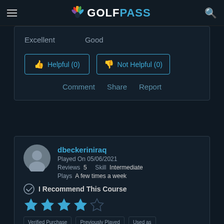GOLFPASS
Excellent   Good
👍 Helpful (0)   👎 Not Helpful (0)
Comment   Share   Report
dbeckeriniraq
Played On 05/06/2021
Reviews  5    Skill  Intermediate
Plays  A few times a week
I Recommend This Course
[Figure (other): 4 out of 5 stars rating in blue]
Verified Purchase   Previously Played   Used as